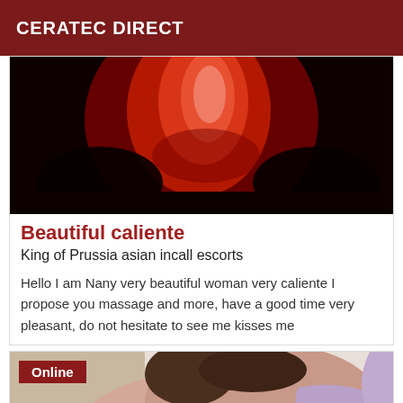CERATEC DIRECT
[Figure (photo): Red-lit abstract photo, dark background with red/pink illuminated shapes]
Beautiful caliente
King of Prussia asian incall escorts
Hello I am Nany very beautiful woman very caliente I propose you massage and more, have a good time very pleasant, do not hesitate to see me kisses me
[Figure (photo): Photo of a woman from behind, wearing a light purple/lavender top, with an 'Online' badge overlay]